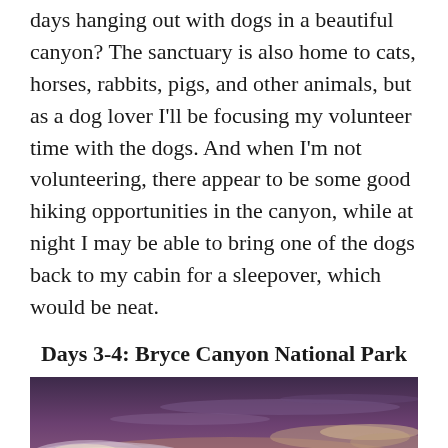days hanging out with dogs in a beautiful canyon? The sanctuary is also home to cats, horses, rabbits, pigs, and other animals, but as a dog lover I'll be focusing my volunteer time with the dogs. And when I'm not volunteering, there appear to be some good hiking opportunities in the canyon, while at night I may be able to bring one of the dogs back to my cabin for a sleepover, which would be neat.
Days 3-4: Bryce Canyon National Park
[Figure (photo): Dramatic sunset photo of Bryce Canyon National Park showing purple and orange sky with clouds, canyon rock formations silhouetted in the foreground.]